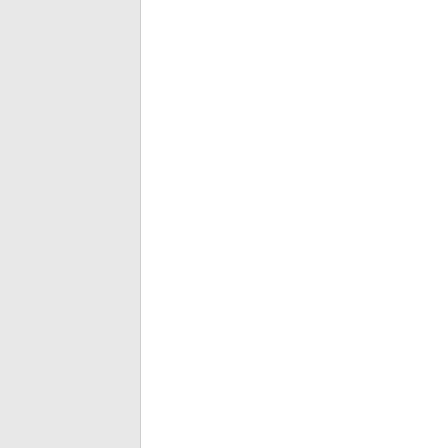at 2:2 pm
It's a good thing that Reagan isn't running. Was he accused of rape? Exposing himself? Hanging around with convicted pedoph. Big difference fro an affair, if it